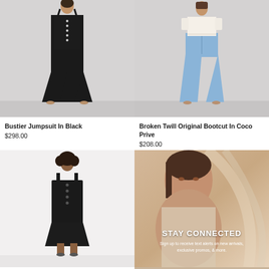[Figure (photo): Female model wearing a black bustier jumpsuit with button-front bodice and wide-leg pants, photographed against a grey background]
Bustier Jumpsuit In Black
$298.00
[Figure (photo): Female model wearing a white crop top and light blue flared/bootcut jeans, photographed against a grey background]
Broken Twill Original Bootcut In Coco Prive
$208.00
[Figure (photo): Female model with curly hair wearing a black sleeveless mini dress with button details, photographed against a white background]
[Figure (photo): Close-up of a female model's face and upper body with beige/cream fabric backdrop and STAY CONNECTED promotional text overlay]
STAY CONNECTED
Sign up to receive text alerts on new arrivals, exclusive promos, & more.